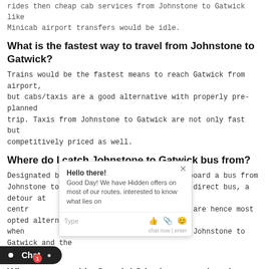rides then cheap cab services from Johnstone to Gatwick like Minicab airport transfers would be idle.
What is the fastest way to travel from Johnstone to Gatwick?
Trains would be the fastest means to reach Gatwick from airport, but cabs/taxis are a good alternative with properly pre-planned trip. Taxis from Johnstone to Gatwick are not only fast but competitively priced as well.
Where do I catch Johnstone to Gatwick bus from?
Designated bus stops can be looked for to board a bus from Johnstone to Gatwick, but since there is no direct bus, a detour at centr... quired. Cabs are hence most opted alternative when ... avelling from Johnstone to Gatwick and the other...
Where do I find a taxi stand in Gatwick? Is there a taxi rank at Gatwick?
Gatwick is one of the busiest airports with a number of taxi ranks while many are just outside, cheaper options can be opted by pre-booking online through websites. GB airport transfers for